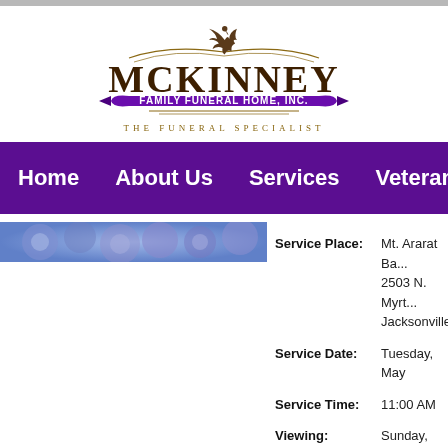[Figure (logo): McKinney Family Funeral Home, Inc. logo with eagle, brown text, purple ribbon banner, and tagline THE FUNERAL SPECIALIST]
Home   About Us   Services   Veterans   C
[Figure (photo): Blue floral background image, partially visible]
Service Place: Mt. Ararat Ba... 2503 N. Myrt... Jacksonville,
Service Date: Tuesday, May
Service Time: 11:00 AM
Viewing: Sunday, May